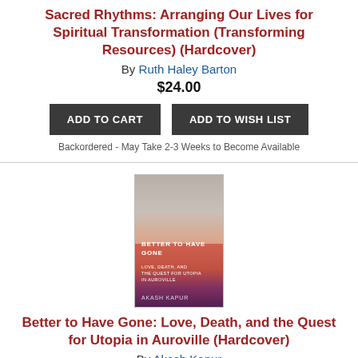Sacred Rhythms: Arranging Our Lives for Spiritual Transformation (Transforming Resources) (Hardcover)
By Ruth Haley Barton
$24.00
ADD TO CART
ADD TO WISH LIST
Backordered - May Take 2-3 Weeks to Become Available
[Figure (photo): Book cover of Better to Have Gone by Akash Kapur showing a woman's face and pink/purple gradient background]
Better to Have Gone: Love, Death, and the Quest for Utopia in Auroville (Hardcover)
By Akash Kapur
$27.00
ADD TO CART
ADD TO WISH LIST